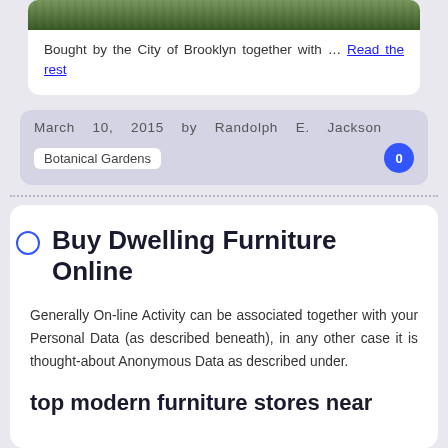[Figure (photo): Partial view of a nature/garden photo with green foliage at the top of the page]
Bought by the City of Brooklyn together with … Read the rest
March 10, 2015 by Randolph E. Jackson
Botanical Gardens
Buy Dwelling Furniture Online
Generally On-line Activity can be associated together with your Personal Data (as described beneath), in any other case it is thought-about Anonymous Data as described under.
top modern furniture stores near